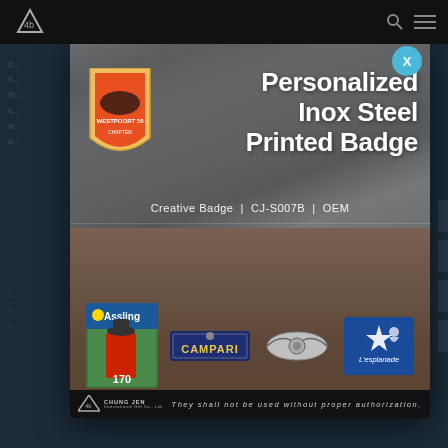[Figure (screenshot): Product page screenshot showing a modal popup for Personalized Inox Steel Printed Badge. The modal contains a product image of various printed badges on fabric/leather background, with title text and product code. Footer shows Chung Jen International logo and copyright notice.]
Personalized Inox Steel Printed Badge
Creative Badge | CJ-S007B | OEM
They shall not be used without proper authorization.